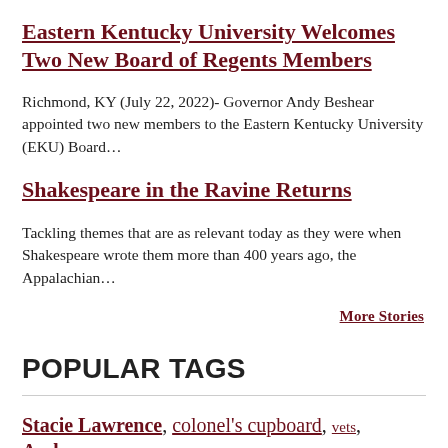Eastern Kentucky University Welcomes Two New Board of Regents Members
Richmond, KY (July 22, 2022)- Governor Andy Beshear appointed two new members to the Eastern Kentucky University (EKU) Board…
Shakespeare in the Ravine Returns
Tackling themes that are as relevant today as they were when Shakespeare wrote them more than 400 years ago, the Appalachian…
More Stories
POPULAR TAGS
Stacie Lawrence, colonel's cupboard, vets, Andrew